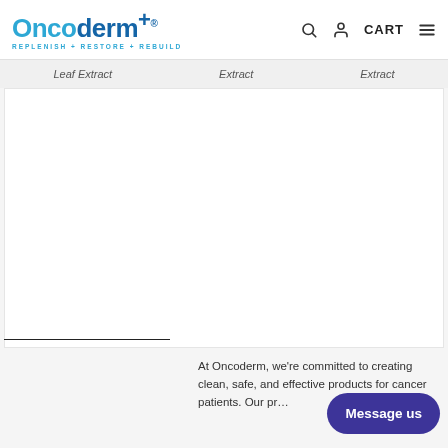Oncoderm+ REPLENISH + RESTORE + REBUILD — CART
Leaf Extract    Extract    Extract
[Figure (photo): White product image area for Oncoderm skincare products]
At Oncoderm, we're committed to creating clean, safe, and effective products for cancer patients. Our pr…
Message us